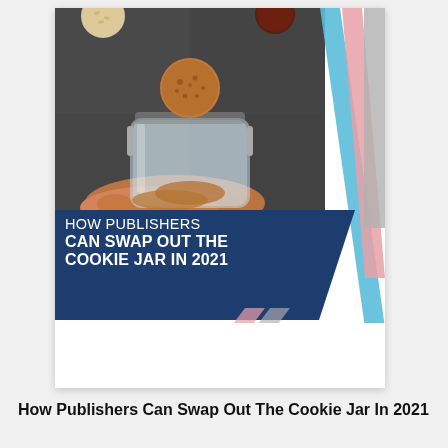[Figure (photo): Book/article cover thumbnail showing a glass cookie jar held by a hand with cookies floating above it on a dark background. Cover includes title text 'HOW PUBLISHERS CAN SWAP OUT THE COOKIE JAR IN 2021' on a dark blue banner, author 'Hazel Broadley', and sponsor 'sovrn'. Decorative diagonal stripe graphics in blue, pink, and gray on the right side.]
How Publishers Can Swap Out The Cookie Jar In 2021